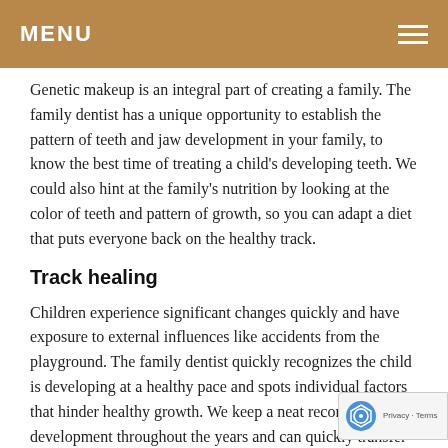MENU
Genetic makeup is an integral part of creating a family. The family dentist has a unique opportunity to establish the pattern of teeth and jaw development in your family, to know the best time of treating a child's developing teeth. We could also hint at the family's nutrition by looking at the color of teeth and pattern of growth, so you can adapt a diet that puts everyone back on the healthy track.
Track healing
Children experience significant changes quickly and have exposure to external influences like accidents from the playground. The family dentist quickly recognizes the child is developing at a healthy pace and spots individual factors that hinder healthy growth. We keep a neat record of their development throughout the years and can quickly transfer the